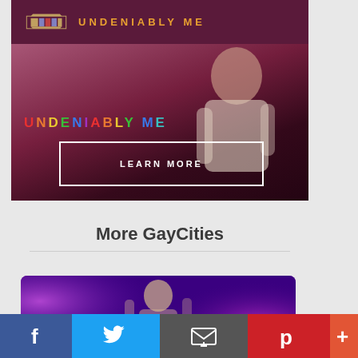[Figure (screenshot): Cadillac 'Undeniably Me' campaign banner with logo and orange text on dark maroon background]
[Figure (photo): Hero image of a man in white shirt against reddish-purple background with 'UNDENIABLY ME' in rainbow letters and a 'LEARN MORE' button outlined in white]
More GayCities
[Figure (photo): Photo of a shirtless performer at a nightclub under purple lights]
[Figure (infographic): Social sharing bar with Facebook, Twitter, Email, Pinterest, and More buttons]